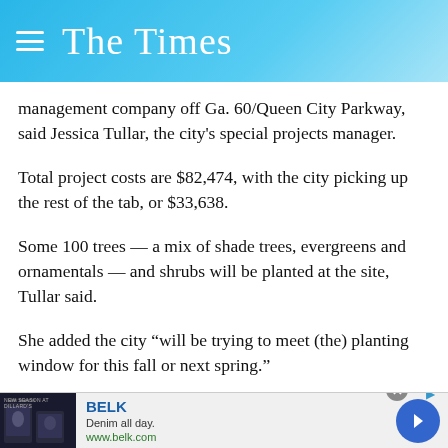The Times
management company off Ga. 60/Queen City Parkway, said Jessica Tullar, the city’s special projects manager.
Total project costs are $82,474, with the city picking up the rest of the tab, or $33,638.
Some 100 trees — a mix of shade trees, evergreens and ornamentals — and shrubs will be planted at the site, Tullar said.
She added the city “will be trying to meet (the) planting window for this fall or next spring.”
[Figure (infographic): Advertisement banner for BELK: 'Denim all day. www.belk.com' with product images and navigation arrow button.]